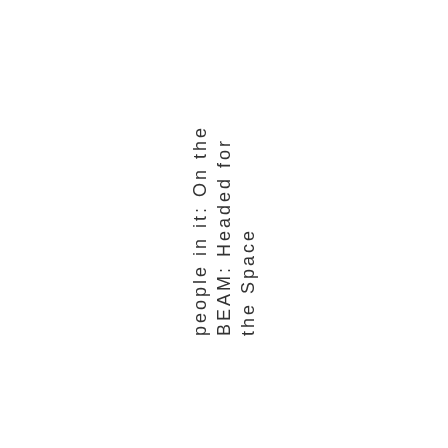people in it: On the BEAM: Headed for the Space